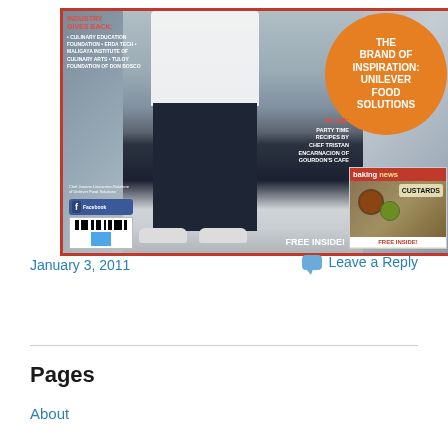[Figure (photo): Magazine cover featuring a chef in white shirt and dark pants standing in an outdoor setting. Left side has red text listing organizations: Culinary Education Foundation, ERDA Tech, Maligaya Institute of Culinary Arts, Tuloy Foundation of Don Bosco. An orange circle on the upper right reads 'THE BRAND OF INSPIRATION: UNILEVER FOOD SOLUTIONS'. Lower left has Facebook box and barcode. Lower right has a 'PLUS: PARTY TIME RECIPES BY CHEF TRISTAN ENCARNACION OF GOURDON'S CAFE' text and a baking magazine inset with 'FREE INSIDE!' label.]
January 3, 2011
Leave a Reply
Pages
About